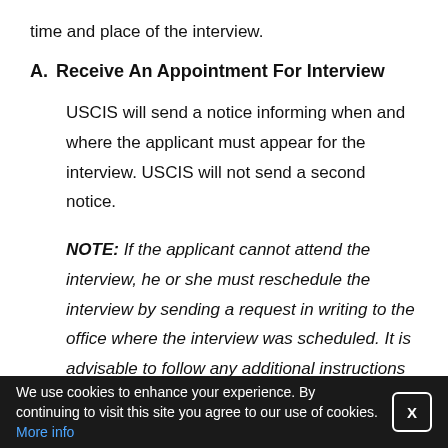time and place of the interview.
A.  Receive An Appointment For Interview
USCIS will send a notice informing when and where the applicant must appear for the interview. USCIS will not send a second notice.
NOTE: If the applicant cannot attend the interview, he or she must reschedule the interview by sending a request in writing to the office where the interview was scheduled. It is advisable to follow any additional instructions found on the Appointment Notice regarding
We use cookies to enhance your experience. By continuing to visit this site you agree to our use of cookies. More info